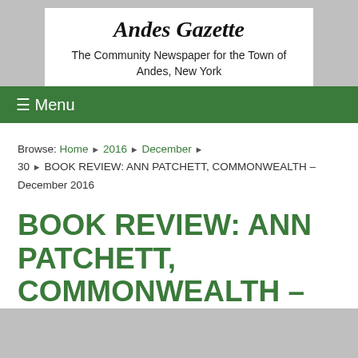[Figure (illustration): Gray header area with three small building/house icons and a circular $1 price badge]
Andes Gazette
The Community Newspaper for the Town of Andes, New York
≡ Menu
Browse: Home ▸ 2016 ▸ December ▸ 30 ▸ BOOK REVIEW: ANN PATCHETT, COMMONWEALTH – December 2016
BOOK REVIEW: ANN PATCHETT, COMMONWEALTH –